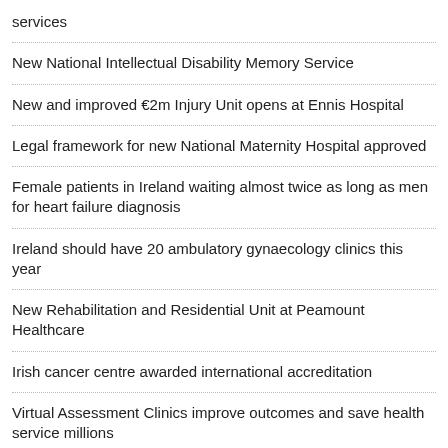services
New National Intellectual Disability Memory Service
New and improved €2m Injury Unit opens at Ennis Hospital
Legal framework for new National Maternity Hospital approved
Female patients in Ireland waiting almost twice as long as men for heart failure diagnosis
Ireland should have 20 ambulatory gynaecology clinics this year
New Rehabilitation and Residential Unit at Peamount Healthcare
Irish cancer centre awarded international accreditation
Virtual Assessment Clinics improve outcomes and save health service millions